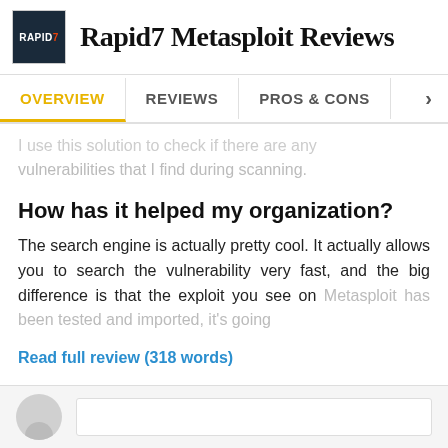Rapid7 Metasploit Reviews
OVERVIEW   REVIEWS   PROS & CONS
I use this solution to check if there are any vulnerabilities that I find during scanning.
How has it helped my organization?
The search engine is actually pretty cool. It actually allows you to search the vulnerability very fast, and the big difference is that the exploit you see on Metasploit has been tested and imported, it's going
Read full review (318 words)